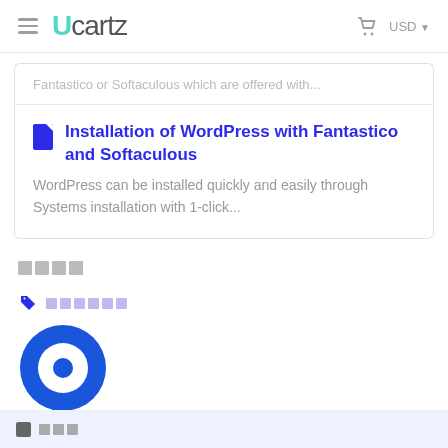Ucartz — USD
Fantastico or Softaculous which are offered with...
Installation of WordPress with Fantastico and Softaculous
WordPress can be installed quickly and easily through Systems installation with 1-click...
[redacted]
[redacted tag label]
[Figure (other): Blue circular chat widget icon with white inner ring and blue center dot]
[redacted footer text]